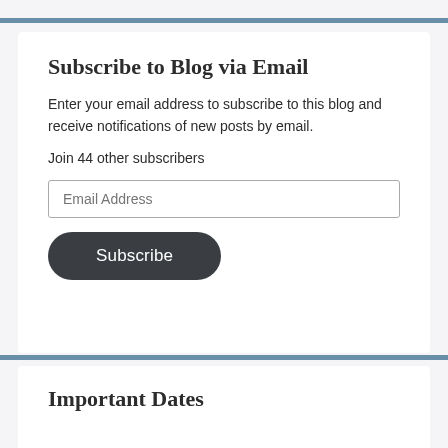Subscribe to Blog via Email
Enter your email address to subscribe to this blog and receive notifications of new posts by email.
Join 44 other subscribers
Email Address
Subscribe
Important Dates